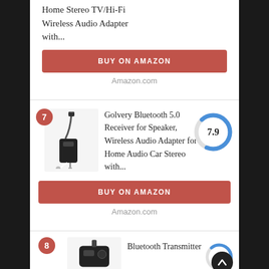Home Stereo TV/Hi-Fi Wireless Audio Adapter with...
BUY ON AMAZON
Amazon.com
[Figure (photo): Bluetooth audio adapter device with cables]
Golvery Bluetooth 5.0 Receiver for Speaker, Wireless Audio Adapter for Home Audio Car Stereo with...
[Figure (donut-chart): Score 7.9]
BUY ON AMAZON
Amazon.com
[Figure (photo): Bluetooth transmitter device]
Bluetooth Transmitter